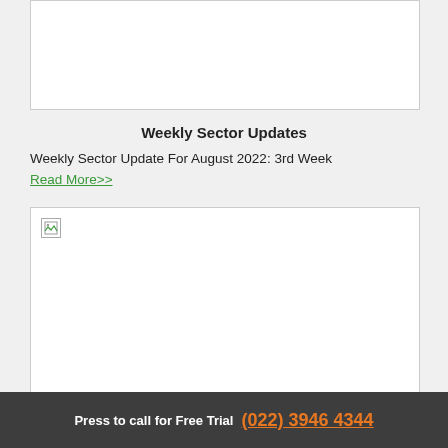[Figure (other): Top image placeholder box (broken/missing image)]
Weekly Sector Updates
Weekly Sector Update For August 2022: 3rd Week
Read More>>
[Figure (other): Bottom image placeholder box with broken image icon in top-left corner]
Press to call for Free Trial  (022) 3946 4344